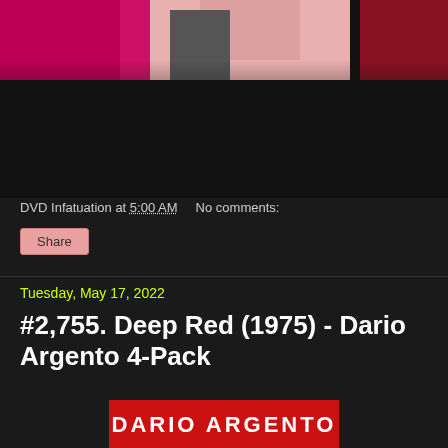[Figure (photo): Top portion of a blog post image showing figures in pink/magenta and red clothing against dark background, partially cropped]
DVD Infatuation at 5:00 AM    No comments:
Share
Tuesday, May 17, 2022
#2,755. Deep Red (1975) - Dario Argento 4-Pack
[Figure (photo): Bottom portion showing red background with 'DARIO ARGENTO' text in white letters on red banner]